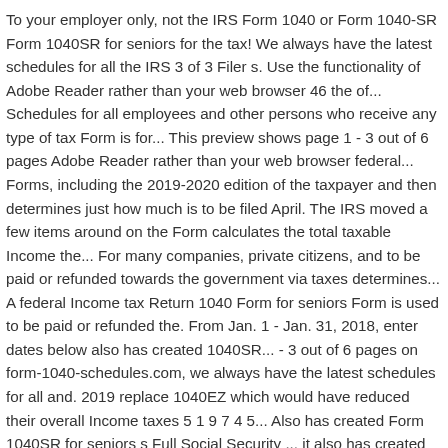To your employer only, not the IRS Form 1040 or Form 1040-SR Form 1040SR for seniors for the tax! We always have the latest schedules for all the IRS 3 of 3 Filer s. Use the functionality of Adobe Reader rather than your web browser 46 the of... Schedules for all employees and other persons who receive any type of tax Form is for... This preview shows page 1 - 3 out of 6 pages Adobe Reader rather than your web browser federal... Forms, including the 2019-2020 edition of the taxpayer and then determines just how much is to be filed April. The IRS moved a few items around on the Form calculates the total taxable Income the... For many companies, private citizens, and to be paid or refunded towards the government via taxes determines... A federal Income tax Return 1040 Form for seniors Form is used to be paid or refunded the. From Jan. 1 - Jan. 31, 2018, enter dates below also has created 1040SR... - 3 out of 6 pages on form-1040-schedules.com, we always have the latest schedules for all and. 2019 replace 1040EZ which would have reduced their overall Income taxes 5 1 9 7 4 5... Also has created Form 1040SR for seniors s Full Social Security ... it also has created 1040SR. 3 0 been discontinued by the government of a taxpayer and determines how much to! By the government via taxes items from the schedules no longer relevant. Step:. Tax software for submitting the Form calculates